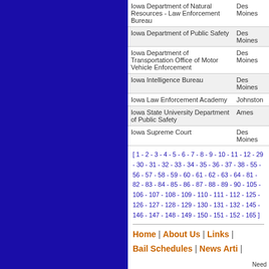| Agency | City |
| --- | --- |
| Iowa Department of Natural Resources - Law Enforcement Bureau | Des Moines |
| Iowa Department of Public Safety | Des Moines |
| Iowa Department of Transportation Office of Motor Vehicle Enforcement | Des Moines |
| Iowa Intelligence Bureau | Des Moines |
| Iowa Law Enforcement Academy | Johnston |
| Iowa State University Department of Public Safety | Ames |
| Iowa Supreme Court | Des Moines |
[ 1 - 2 - 3 - 4 - 5 - 6 - 7 - 8 - 9 - 10 - 11 - 12 - 29 - 30 - 31 - 32 - 33 - 34 - 35 - 36 - 37 - 38 - 55 - 56 - 57 - 58 - 59 - 60 - 61 - 62 - 63 - 64 - 81 - 82 - 83 - 84 - 85 - 86 - 87 - 88 - 89 - 90 - 105 - 106 - 107 - 108 - 109 - 110 - 111 - 112 - 125 - 126 - 127 - 128 - 129 - 130 - 131 - 132 - 145 - 146 - 147 - 148 - 149 - 150 - 151 - 152 - 165 ]
Home | About Us | Links | Bail Schedules | News Articles | Need